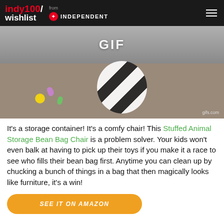indy100/wishlist from INDEPENDENT
[Figure (photo): Photo/GIF of a stuffed animal bean bag chair on a carpet with toys around it. Watermark: gifs.com]
It's a storage container! It's a comfy chair! This Stuffed Animal Storage Bean Bag Chair is a problem solver. Your kids won't even balk at having to pick up their toys if you make it a race to see who fills their bean bag first. Anytime you can clean up by chucking a bunch of things in a bag that then magically looks like furniture, it's a win!
SEE IT ON AMAZON